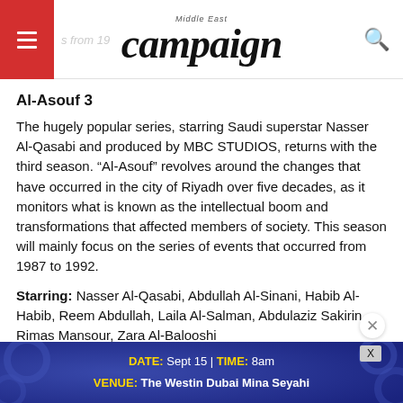campaign Middle East
Al-Asouf 3
The hugely popular series, starring Saudi superstar Nasser Al-Qasabi and produced by MBC STUDIOS, returns with the third season. “Al-Asouf” revolves around the changes that have occurred in the city of Riyadh over five decades, as it monitors what is known as the intellectual boom and transformations that affected members of society. This season will mainly focus on the series of events that occurred from 1987 to 1992.
Starring: Nasser Al-Qasabi, Abdullah Al-Sinani, Habib Al-Habib, Reem Abdullah, Laila Al-Salman, Abdulaziz Sakirin, Rimas Mansour, Zara Al-Balooshi
[Figure (infographic): Advertisement banner with dark blue background showing event details: DATE: Sept 15 | TIME: 8am, VENUE: The Westin Dubai Mina Seyahi]